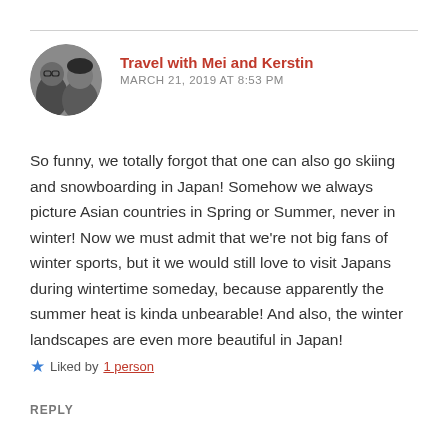[Figure (photo): Circular avatar photo of two people (Mei and Kerstin), black and white photo]
Travel with Mei and Kerstin
MARCH 21, 2019 AT 8:53 PM
So funny, we totally forgot that one can also go skiing and snowboarding in Japan! Somehow we always picture Asian countries in Spring or Summer, never in winter! Now we must admit that we're not big fans of winter sports, but it we would still love to visit Japans during wintertime someday, because apparently the summer heat is kinda unbearable! And also, the winter landscapes are even more beautiful in Japan!
Liked by 1 person
REPLY